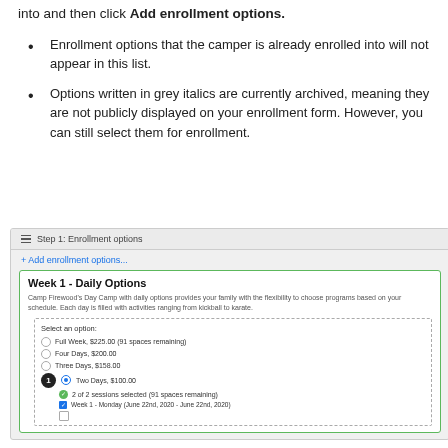into and then click Add enrollment options.
Enrollment options that the camper is already enrolled into will not appear in this list.
Options written in grey italics are currently archived, meaning they are not publicly displayed on your enrollment form. However, you can still select them for enrollment.
[Figure (screenshot): Screenshot of Step 1: Enrollment options UI showing Week 1 - Daily Options card with radio button options (Full Week $225.00, Four Days $200.00, Three Days $158.00, Two Days $100.00 selected) and session selection with 2 of 2 sessions selected and Week 1 - Monday checkbox checked.]